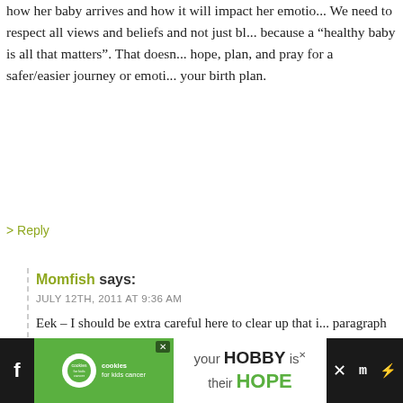how her baby arrives and how it will impact her emotio... We need to respect all views and beliefs and not just bl... because a “healthy baby is all that matters”. That doesn... hope, plan, and pray for a safer/easier journey or emoti... your birth plan.
> Reply
Momfish says:
JULY 12TH, 2011 AT 9:36 AM
Eek – I should be extra careful here to clear up that i... paragraph the way I worded it might suggest that wo... a c-section don’t care about how her baby arrives, an... meant.
I just mean no matter which route a woman takes, sh... risks through her own personal lens & decide what’s... that’s what should be respected. 🙂
> Reply
[Figure (screenshot): Advertisement banner: cookies for kids cancer charity ad with 'your HOBBY is their HOPE' text on green and white background with social media icons]